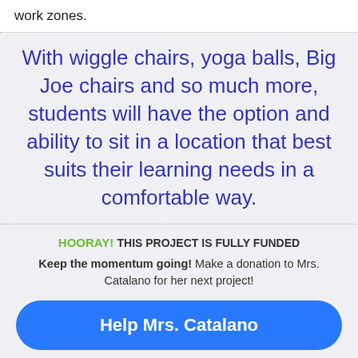work zones.
With wiggle chairs, yoga balls, Big Joe chairs and so much more, students will have the option and ability to sit in a location that best suits their learning needs in a comfortable way.
HOORAY! THIS PROJECT IS FULLY FUNDED
Keep the momentum going! Make a donation to Mrs. Catalano for her next project!
Help Mrs. Catalano